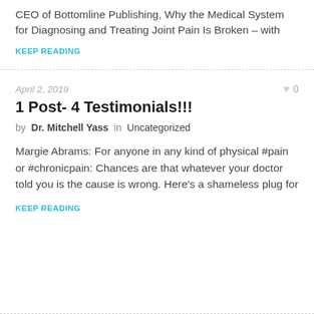CEO of Bottomline Publishing, Why the Medical System for Diagnosing and Treating Joint Pain Is Broken – with
KEEP READING
April 2, 2019
1 Post- 4 Testimonials!!!
by Dr. Mitchell Yass in Uncategorized
Margie Abrams: For anyone in any kind of physical #pain or #chronicpain: Chances are that whatever your doctor told you is the cause is wrong. Here's a shameless plug for
KEEP READING